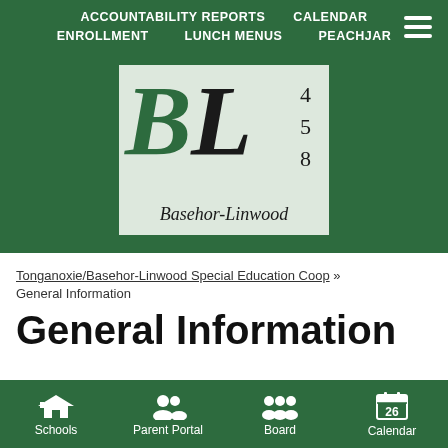ACCOUNTABILITY REPORTS   CALENDAR   ENROLLMENT   LUNCH MENUS   PEACHJAR
[Figure (logo): Basehor-Linwood school district logo: stylized BL letters in green and black with numbers 4, 5, 8 and text 'Basehor-Linwood' in italic serif font on a light gray background, set against dark green header]
Tonganoxie/Basehor-Linwood Special Education Coop » General Information
General Information
Schools   Parent Portal   Board   Calendar